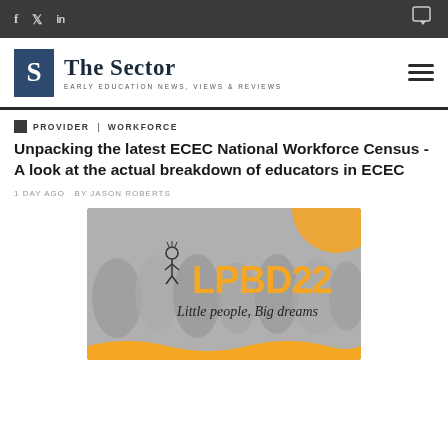f  t  in  [chat icon]
[Figure (logo): The Sector logo — blue S box with 'The Sector' text and tagline 'EARLY EDUCATION NEWS, VIEWS & REVIEWS']
PROVIDER  |  WORKFORCE
Unpacking the latest ECEC National Workforce Census - A look at the actual breakdown of educators in ECEC
1 DAY AGO  BY JASON ROBERTS
[Figure (illustration): LPBD22 - Little people, Big dreams conference banner image with orange text and stick figure logo on a blurred crowd background with orange wave decoration]